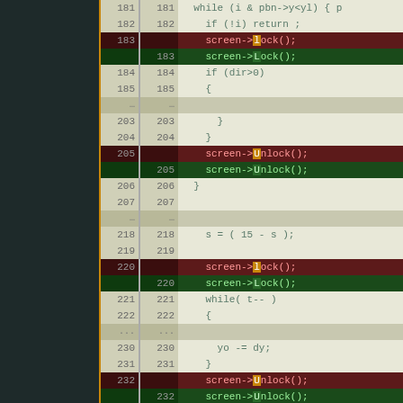[Figure (screenshot): A code diff viewer showing a side-by-side comparison of source code with line numbers. Lines with screen->Lock() and screen->Unlock() calls are highlighted in red (removed) and green (added). The left panel is a dark teal/black sidebar with an orange vertical border line. The right panel shows line numbers and code in a beige/cream background for context lines, dark red for removed lines, and dark green for added lines.]